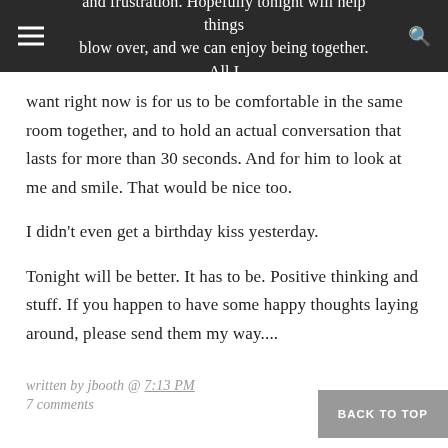and frustration. Hopefully tonight will help things blow over, and we can enjoy being together. All I
want right now is for us to be comfortable in the same room together, and to hold an actual conversation that lasts for more than 30 seconds. And for him to look at me and smile. That would be nice too.
I didn't even get a birthday kiss yesterday.
Tonight will be better. It has to be. Positive thinking and stuff. If you happen to have some happy thoughts laying around, please send them my way....
written by jbooth @ 7:13 PM
7 comments